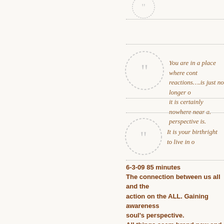[Figure (illustration): Circular quote icon (speech bubble with quotation marks) in light gray, partially visible at top of page]
You are in a place where controlling reactions….is just no longer a…it is certainly nowhere near as…perspective is.
[Figure (illustration): Circular quote icon (speech bubble with quotation marks) in light gray]
It is your birthright to live in …
6-3-09 85 minutes
The connection between us all and the… action on the ALL. Gaining awareness… soul's perspective.
All things seem brand new and fresh a… truth of YOU.
The only thing that's common between… breath. No amount of proof can chang… reality doesn't embrace an idea, it can… be false and they will block out any pr…
When you are asking for insight-you a… are asking for something new. A new…